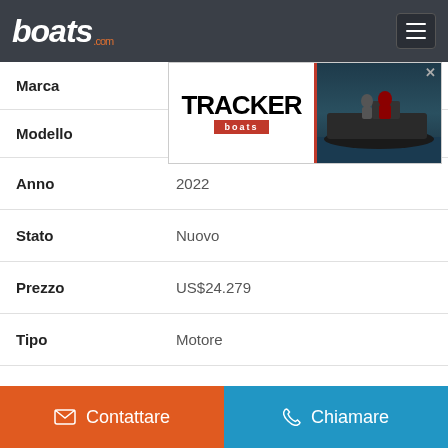boats.com
[Figure (screenshot): Tracker Boats advertisement banner with logo on left and boat image on right]
| Label | Value |
| --- | --- |
| Marca |  |
| Modello |  |
| Anno | 2022 |
| Stato | Nuovo |
| Prezzo | US$24.279 |
| Tipo | Motore |
| Classe | Pesca costiera |
| Lunghezza | 5.03 m |
| Tipo di carburante | Gas |
| Materiale scafo | Alluminio |
| Ubicazione | Peninsula, Ohio, Stati Uniti |
Contattare
Chiamare